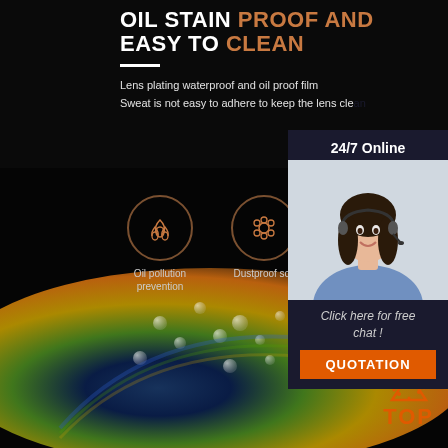OIL STAIN PROOF AND EASY TO CLEAN
Lens plating waterproof and oil proof film
Sweat is not easy to adhere to keep the lens clean
[Figure (infographic): Two circular icons on dark background: water drops icon labeled 'Oil pollution prevention' and gear/flower icon labeled 'Dustproof soil']
[Figure (photo): Close-up of a colorful lens with water droplets showing rainbow reflections on black background]
[Figure (photo): Customer service representative woman wearing headset, smiling, with '24/7 Online' text above and 'Click here for free chat!' and 'QUOTATION' button below]
[Figure (logo): Orange TOP badge with mountain/triangle icon above the text TOP]